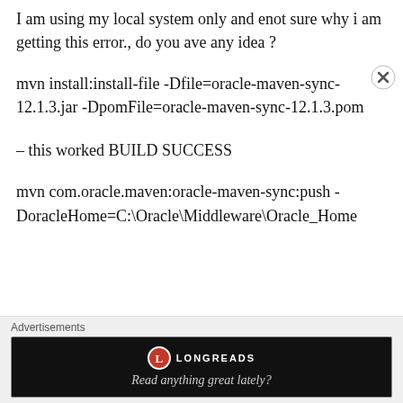I am using my local system only and enot sure why i am getting this error., do you ave any idea ?
mvn install:install-file -Dfile=oracle-maven-sync-12.1.3.jar -DpomFile=oracle-maven-sync-12.1.3.pom
– this worked BUILD SUCCESS
mvn com.oracle.maven:oracle-maven-sync:push -DoracleHome=C:\Oracle\Middleware\Oracle_Home
[Figure (other): Longreads advertisement banner with logo and tagline 'Read anything great lately?']